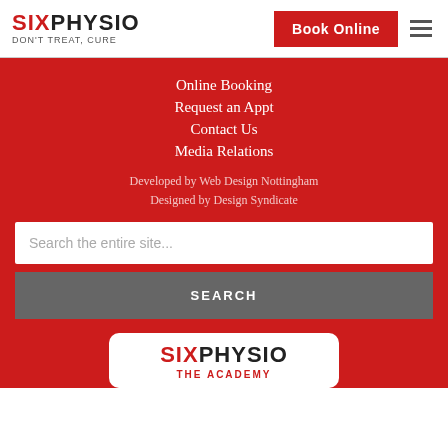SIXPHYSIO DON'T TREAT, CURE | Book Online
Online Booking
Request an Appt
Contact Us
Media Relations
Developed by Web Design Nottingham
Designed by Design Syndicate
Search the entire site...
SEARCH
[Figure (logo): SixPhysio The Academy logo in white rounded box]